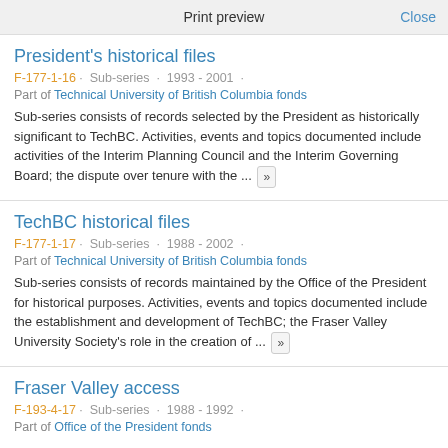Print preview   Close
President's historical files
F-177-1-16 · Sub-series · 1993 - 2001 ·
Part of Technical University of British Columbia fonds
Sub-series consists of records selected by the President as historically significant to TechBC. Activities, events and topics documented include activities of the Interim Planning Council and the Interim Governing Board; the dispute over tenure with the ... »
TechBC historical files
F-177-1-17 · Sub-series · 1988 - 2002 ·
Part of Technical University of British Columbia fonds
Sub-series consists of records maintained by the Office of the President for historical purposes. Activities, events and topics documented include the establishment and development of TechBC; the Fraser Valley University Society's role in the creation of ... »
Fraser Valley access
F-193-4-17 · Sub-series · 1988 - 1992 ·
Part of Office of the President fonds